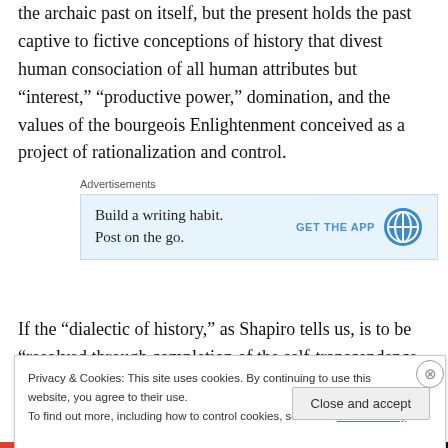the archaic past on itself, but the present holds the past captive to fictive conceptions of history that divest human consociation of all human attributes but “interest,” “productive power,” domination, and the values of the bourgeois Enlightenment conceived as a project of rationalization and control.
[Figure (screenshot): Advertisements banner with WordPress app promotion: 'Build a writing habit. Post on the go.' with GET THE APP button and WordPress logo]
If the “dialectic of history,” as Shapiro tells us, is to be “resolved through completion of the self-transcendence of
Privacy & Cookies: This site uses cookies. By continuing to use this website, you agree to their use.
To find out more, including how to control cookies, see here: Cookie Policy
Close and accept